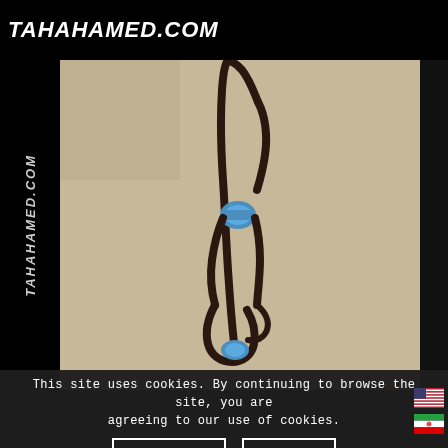TAHAHAMED.COM
[Figure (photo): A dark metal sculptural object resembling scissors or tongs with a blue element, photographed against a light beige background. The black sidebar on the left has vertical watermark text reading TAHAHAMED.COM.]
This site uses cookies. By continuing to browse the site, you are agreeing to our use of cookies.
Learn more
OK